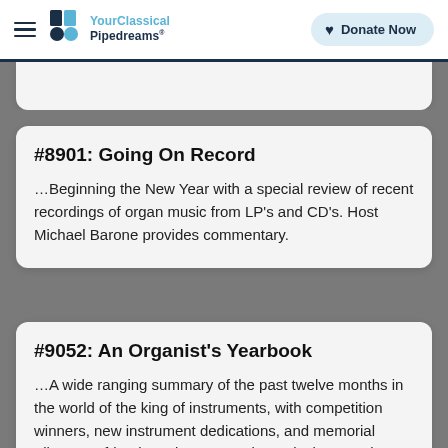YourClassical Pipedreams — Donate Now
#8901: Going On Record
…Beginning the New Year with a special review of recent recordings of organ music from LP's and CD's. Host Michael Barone provides commentary.
#9052: An Organist's Yearbook
…A wide ranging summary of the past twelve months in the world of the king of instruments, with competition winners, new instrument dedications, and memorial tributes to friends and mentors…in particular, E. Lyle